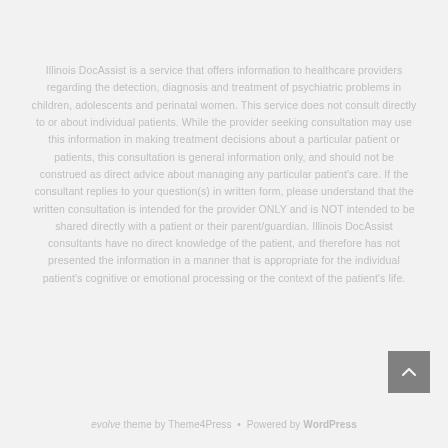Illinois DocAssist is a service that offers information to healthcare providers regarding the detection, diagnosis and treatment of psychiatric problems in children, adolescents and perinatal women. This service does not consult directly to or about individual patients. While the provider seeking consultation may use this information in making treatment decisions about a particular patient or patients, this consultation is general information only, and should not be construed as direct advice about managing any particular patient's care. If the consultant replies to your question(s) in written form, please understand that the written consultation is intended for the provider ONLY and is NOT intended to be shared directly with a patient or their parent/guardian. Illinois DocAssist consultants have no direct knowledge of the patient, and therefore has not presented the information in a manner that is appropriate for the individual patient's cognitive or emotional processing or the context of the patient's life.
evolve theme by Theme4Press · Powered by WordPress